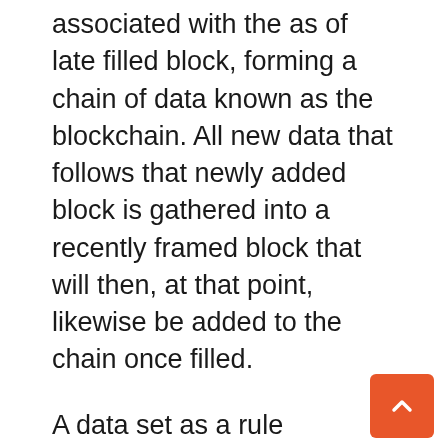associated with the as of late filled block, forming a chain of data known as the blockchain. All new data that follows that newly added block is gathered into a recently framed block that will then, at that point, likewise be added to the chain once filled.
A data set as a rule structures its information into tables, while a blockchain, similar to its name suggests, structures its information into lumps (obstructs) that are hung together. This information structure intrinsically makes an irreversible course of events of information when executed in a decentralized nature. At the point when a block is filled, it is permanently established and turns into a piece of this